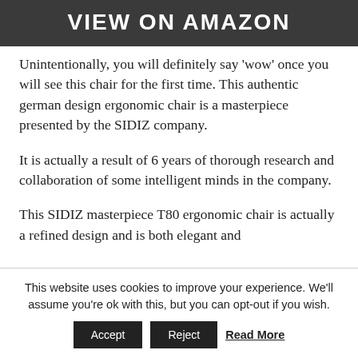[Figure (other): Dark banner with white bold uppercase text reading 'VIEW ON AMAZON']
Unintentionally, you will definitely say 'wow' once you will see this chair for the first time. This authentic german design ergonomic chair is a masterpiece presented by the SIDIZ company.
It is actually a result of 6 years of thorough research and collaboration of some intelligent minds in the company.
This SIDIZ masterpiece T80 ergonomic chair is actually a refined design and is both elegant and
This website uses cookies to improve your experience. We'll assume you're ok with this, but you can opt-out if you wish.
Accept | Reject | Read More